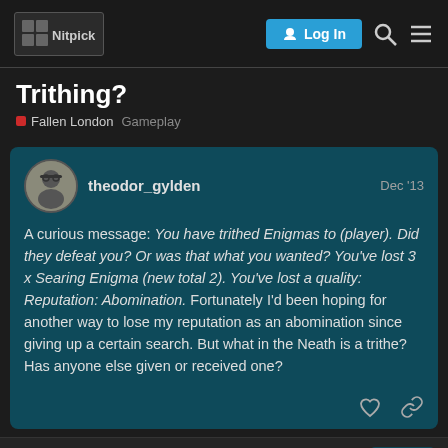Nitpick — Log In
Trithing?
Fallen London  Gameplay
theodor_gylden  Dec '13
A curious message: You have trithed Enigmas to (player). Did they defeat you? Or was that what you wanted? You've lost 3 x Searing Enigma (new total 2). You've lost a quality: Reputation: Abomination. Fortunately I'd been hoping for another way to lose my reputation as an abomination since giving up a certain search. But what in the Neath is a trithe? Has anyone else given or received one?
created  last reply  4  1 / 5